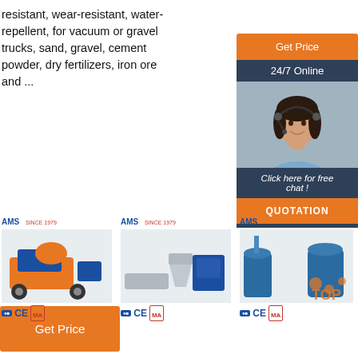resistant, wear-resistant, water-repellent, for vacuum or gravel trucks, sand, gravel, cement powder, dry fertilizers, iron ore and ...
[Figure (illustration): Orange 'Get Price' button (top center)]
[Figure (illustration): Right sidebar with 'Get Price' button, 24/7 Online header, customer service agent photo, 'Click here for free chat!' text, and QUOTATION button]
[Figure (illustration): Orange 'Get Price' button (bottom left)]
[Figure (photo): Three industrial machine product images in a row, each with brand logos (AMS SINCE 1979) and certification marks (ISO CE MA)]